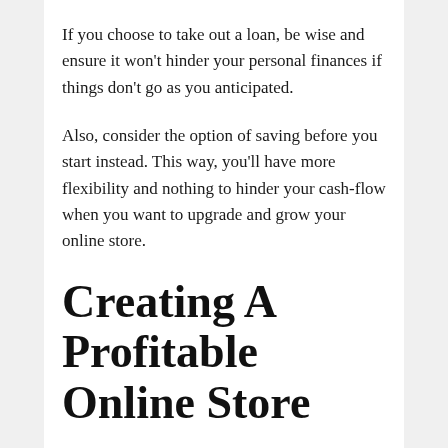If you choose to take out a loan, be wise and ensure it won't hinder your personal finances if things don't go as you anticipated.
Also, consider the option of saving before you start instead. This way, you'll have more flexibility and nothing to hinder your cash-flow when you want to upgrade and grow your online store.
Creating A Profitable Online Store
Ultimately, the secret to creating a profitable